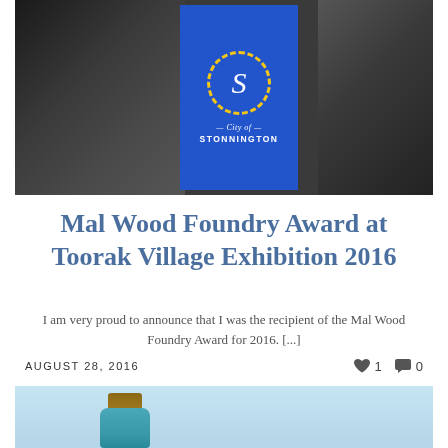[Figure (photo): Event photo showing people at the Toorak Village Exhibition with a City of Stonnington branded display sign in the center. The sign is blue with the Stonnington logo (stylized S in a dotted circle) and text reading '— City of — STONNINGTON'. Figures of people are visible on both sides.]
Mal Wood Foundry Award at Toorak Village Exhibition 2016
I am very proud to announce that I was the recipient of the Mal Wood Foundry Award for 2016. [...]
AUGUST 28, 2016   ♥ 1   💬 0
[Figure (photo): Partial photo showing a ceramic or pottery vessel/vase with a textured brown top and turquoise/blue-green glaze body, against a light blue-grey background.]